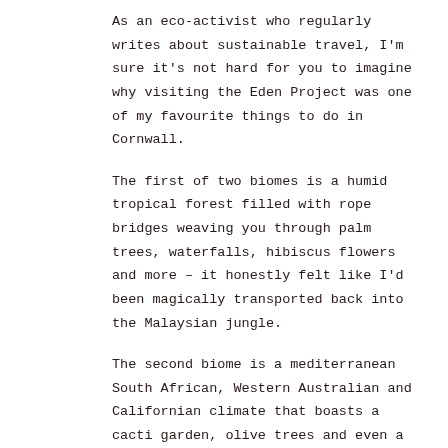As an eco-activist who regularly writes about sustainable travel, I'm sure it's not hard for you to imagine why visiting the Eden Project was one of my favourite things to do in Cornwall.
The first of two biomes is a humid tropical forest filled with rope bridges weaving you through palm trees, waterfalls, hibiscus flowers and more – it honestly felt like I'd been magically transported back into the Malaysian jungle.
The second biome is a mediterranean South African, Western Australian and Californian climate that boasts a cacti garden, olive trees and even a little vineyard. There's even a terrace right in the centre where you can sip sangria surrounded by hot pink bougainvillea.